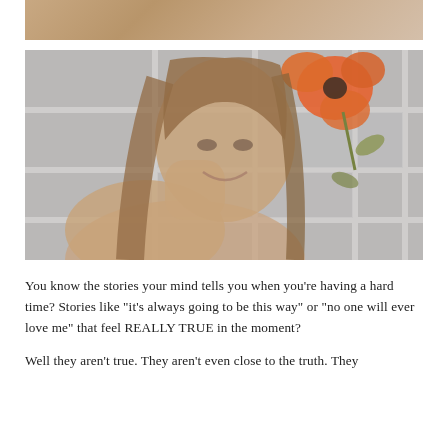[Figure (photo): Partial cropped photo at the top, showing a blurred background, continuation of a person's shoulder/upper body area in warm tones.]
[Figure (photo): A smiling woman with long brown hair photographed in front of a grey gridded window wall, with a large bright orange flower/poppy visible in the upper right corner.]
You know the stories your mind tells you when you’re having a hard time? Stories like “it’s always going to be this way” or “no one will ever love me” that feel REALLY TRUE in the moment?
Well they aren’t true. They aren’t even close to the truth. They